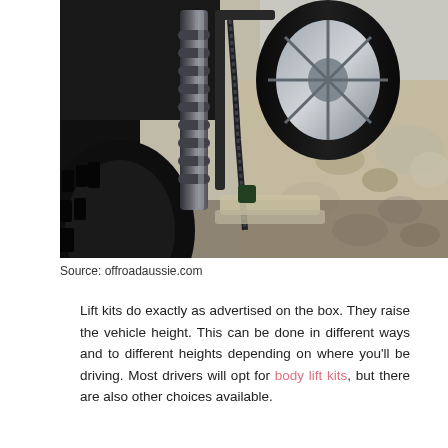[Figure (photo): Close-up photograph of a vehicle's off-road suspension system showing a coil-over shock absorber, drive chain, rear wheel with tire, and rocky desert terrain in the background.]
Source: offroadaussie.com
Lift kits do exactly as advertised on the box. They raise the vehicle height. This can be done in different ways and to different heights depending on where you'll be driving. Most drivers will opt for body lift kits, but there are also other choices available.